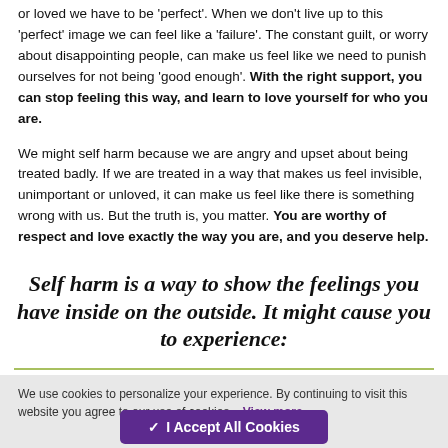or loved we have to be 'perfect'. When we don't live up to this 'perfect' image we can feel like a 'failure'. The constant guilt, or worry about disappointing people, can make us feel like we need to punish ourselves for not being 'good enough'. With the right support, you can stop feeling this way, and learn to love yourself for who you are.
We might self harm because we are angry and upset about being treated badly. If we are treated in a way that makes us feel invisible, unimportant or unloved, it can make us feel like there is something wrong with us. But the truth is, you matter. You are worthy of respect and love exactly the way you are, and you deserve help.
Self harm is a way to show the feelings you have inside on the outside. It might cause you to experience:
We use cookies to personalize your experience. By continuing to visit this website you agree to our use of cookies – View more
✓ I Accept All Cookies